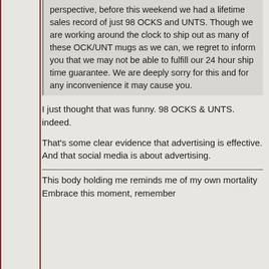perspective, before this weekend we had a lifetime sales record of just 98 OCKS and UNTS. Though we are working around the clock to ship out as many of these OCK/UNT mugs as we can, we regret to inform you that we may not be able to fulfill our 24 hour ship time guarantee. We are deeply sorry for this and for any inconvenience it may cause you.
I just thought that was funny. 98 OCKS & UNTS. indeed.
That's some clear evidence that advertising is effective. And that social media is about advertising.
This body holding me reminds me of my own mortality Embrace this moment, remember